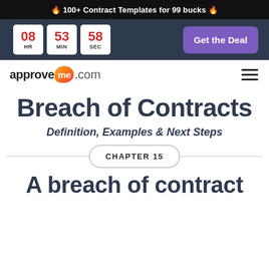🔥 100+ Contract Templates for 99 bucks 🔥
[Figure (screenshot): Countdown timer showing 08 HR 53 MIN 58 SEC with a purple 'Get the Deal' button on dark navy background]
[Figure (logo): approveme.com logo with orange/red speech bubble containing 'me', and hamburger menu icon]
Breach of Contracts
Definition, Examples & Next Steps
CHAPTER 15
A breach of contract...